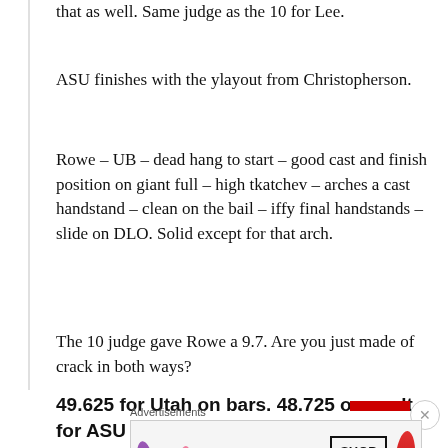that as well. Same judge as the 10 for Lee.
ASU finishes with the ylayout from Christopherson.
Rowe – UB – dead hang to start – good cast and finish position on giant full – high tkatchev – arches a cast handstand – clean on the bail – iffy final handstands – slide on DLO. Solid except for that arch.
The 10 judge gave Rowe a 9.7. Are you just made of crack in both ways?
49.625 for Utah on bars. 48.725 on vault for ASU
[Figure (advertisement): MAC cosmetics advertisement showing lipsticks and 'SHOP NOW' button]